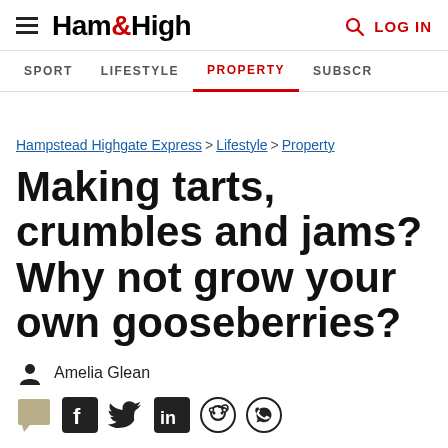Ham&High — LOG IN
SPORT LIFESTYLE PROPERTY SUBSCR
Hampstead Highgate Express > Lifestyle > Property
Making tarts, crumbles and jams? Why not grow your own gooseberries?
Amelia Glean